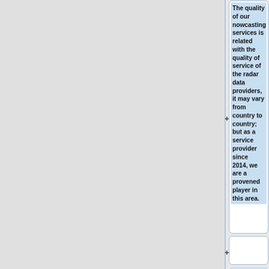The quality of our nowcasting services is related with the quality of service of the radar data providers, it may vary from country to country; but as a service provider since 2014, we are a provened player in this area.
{| class="wikitable"
!Continent